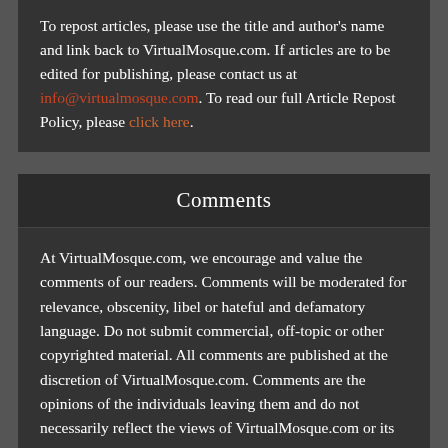To repost articles, please use the title and author's name and link back to VirtualMosque.com. If articles are to be edited for publishing, please contact us at info@virtualmosque.com. To read our full Article Repost Policy, please click here.
Comments
At VirtualMosque.com, we encourage and value the comments of our readers. Comments will be moderated for relevance, obscenity, libel or hateful and defamatory language. Do not submit commercial, off-topic or other copyrighted material. All comments are published at the discretion of VirtualMosque.com. Comments are the opinions of the individuals leaving them and do not necessarily reflect the views of VirtualMosque.com or its content providers.